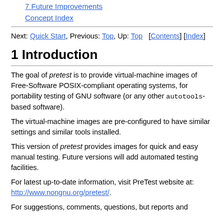7 Future Improvements
Concept Index
Next: Quick Start, Previous: Top, Up: Top   [Contents] [Index]
1 Introduction
The goal of pretest is to provide virtual-machine images of Free-Software POSIX-compliant operating systems, for portability testing of GNU software (or any other autotools-based software).
The virtual-machine images are pre-configured to have similar settings and similar tools installed.
This version of pretest provides images for quick and easy manual testing. Future versions will add automated testing facilities.
For latest up-to-date information, visit PreTest website at: http://www.nongnu.org/pretest/.
For suggestions, comments, questions, but reports and